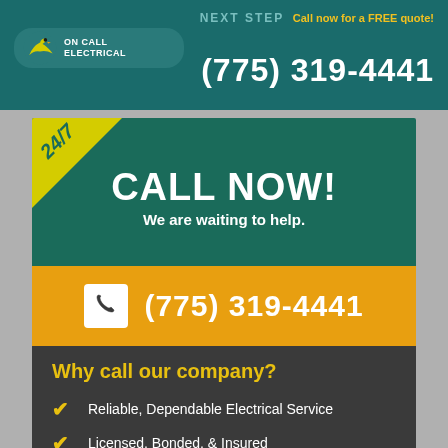NEXT STEP  Call now for a FREE quote!  (775) 319-4441
[Figure (logo): On Call Electrical logo with eagle graphic on teal rounded rectangle]
CALL NOW!
We are waiting to help.
(775) 319-4441
Why call our company?
Reliable, Dependable Electrical Service
Licensed, Bonded, & Insured
Free Quotes & On-time Scheduling